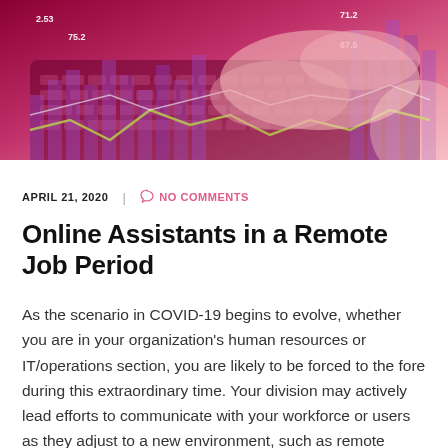[Figure (photo): Hands typing on a glowing pink/red illuminated keyboard with overlaid financial bar charts and line graphs in purple and green tones]
APRIL 21, 2020  |  NO COMMENTS
Online Assistants in a Remote Job Period
As the scenario in COVID-19 begins to evolve, whether you are in your organization's human resources or IT/operations section, you are likely to be forced to the fore during this extraordinary time. Your division may actively lead efforts to communicate with your workforce or users as they adjust to a new environment, such as remote